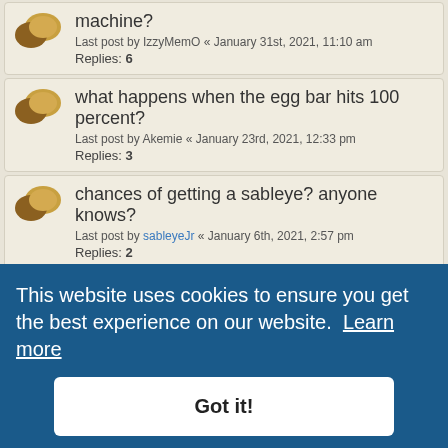machine?
Last post by IzzyMemO « January 31st, 2021, 11:10 am
Replies: 6
what happens when the egg bar hits 100 percent?
Last post by Akemie « January 23rd, 2021, 12:33 pm
Replies: 3
chances of getting a sableye? anyone knows?
Last post by sableyeJr « January 6th, 2021, 2:57 pm
Replies: 2
I'm new here can someone explain how this works
Last post by Ecco « August 27th, 2020, 10:01 am
Replies: 1
Minior color user list
Last post by blue4nie « July 1st, 2020, 8:32 am
Replies: 63
Last post by elenheim « January 24th, 2021, 7:17 pm
Replies: 73
Ice Cream 2019 list
Last post by blue4nie « August 31st, 2019, 10:45 am
Replies: 71
This website uses cookies to ensure you get the best experience on our website. Learn more
Got it!